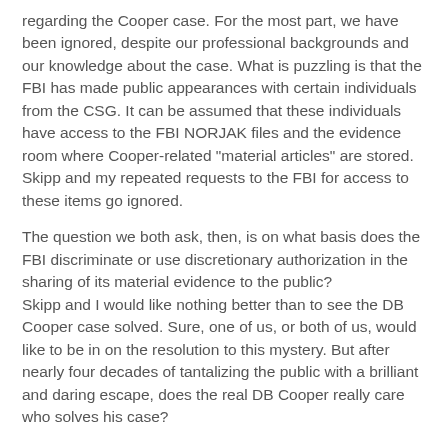regarding the Cooper case. For the most part, we have been ignored, despite our professional backgrounds and our knowledge about the case. What is puzzling is that the FBI has made public appearances with certain individuals from the CSG. It can be assumed that these individuals have access to the FBI NORJAK files and the evidence room where Cooper-related "material articles" are stored. Skipp and my repeated requests to the FBI for access to these items go ignored.
The question we both ask, then, is on what basis does the FBI discriminate or use discretionary authorization in the sharing of its material evidence to the public? Skipp and I would like nothing better than to see the DB Cooper case solved. Sure, one of us, or both of us, would like to be in on the resolution to this mystery. But after nearly four decades of tantalizing the public with a brilliant and daring escape, does the real DB Cooper really care who solves his case?
Galen G. Cook
Attorney at Law